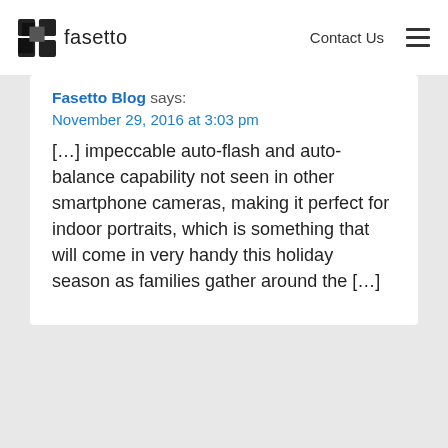fasetto  Contact Us
Fasetto Blog says:
November 29, 2016 at 3:03 pm
[...] impeccable auto-flash and auto-balance capability not seen in other smartphone cameras, making it perfect for indoor portraits, which is something that will come in very handy this holiday season as families gather around the [...]
Categories
Arts & Entertainment
Automotive